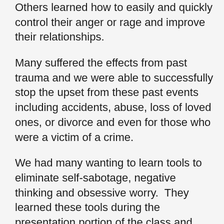Others learned how to easily and quickly control their anger or rage and improve their relationships.
Many suffered the effects from past trauma and we were able to successfully stop the upset from these past events including accidents, abuse, loss of loved ones, or divorce and even for those who were a victim of a crime.
We had many wanting to learn tools to eliminate self-sabotage, negative thinking and obsessive worry.  They learned these tools during the presentation portion of the class and then many experienced relief from individual tapping sequences as volunteers.
Not only did we work with emotional and anxiety issues, we helped many physical problems as well.